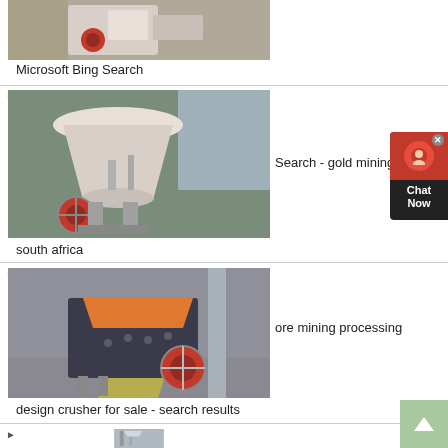[Figure (photo): Industrial mining crushing machine (cone crusher) with red flywheel, factory setting]
Microsoft Bing Search
[Figure (photo): Large cone crusher machine in factory/warehouse setting with white body and red wheel]
Search - gold mining today
south africa
[Figure (photo): Impact crusher machine with dark grey/black body and orange-red flywheel in industrial facility]
ore mining processing
design crusher for sale - search results
[Figure (photo): Industrial mill/grinding equipment in factory, partially visible at bottom of page]